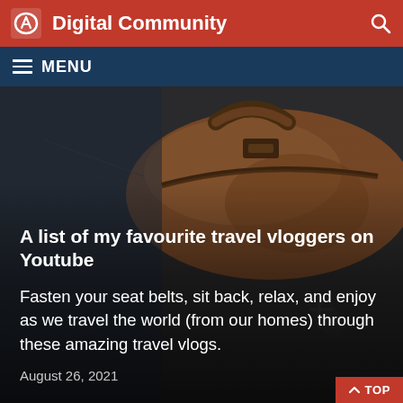Digital Community
A list of my favourite travel vloggers on Youtube
Fasten your seat belts, sit back, relax, and enjoy as we travel the world (from our homes) through these amazing travel vlogs.
August 26, 2021